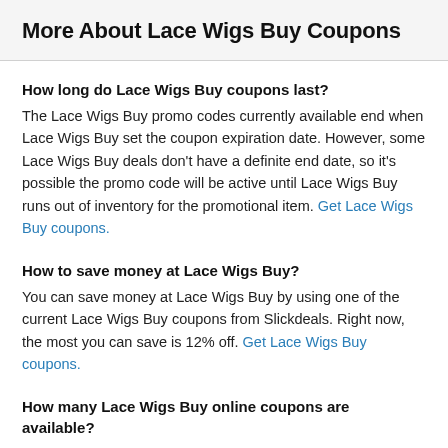More About Lace Wigs Buy Coupons
How long do Lace Wigs Buy coupons last?
The Lace Wigs Buy promo codes currently available end when Lace Wigs Buy set the coupon expiration date. However, some Lace Wigs Buy deals don't have a definite end date, so it's possible the promo code will be active until Lace Wigs Buy runs out of inventory for the promotional item. Get Lace Wigs Buy coupons.
How to save money at Lace Wigs Buy?
You can save money at Lace Wigs Buy by using one of the current Lace Wigs Buy coupons from Slickdeals. Right now, the most you can save is 12% off. Get Lace Wigs Buy coupons.
How many Lace Wigs Buy online coupons are available?
There are currently 6 Lace Wigs Buy online coupons reported by Lace Wigs Buy. These deal offers are available online, including 4 coupon codes. Today alone, users have